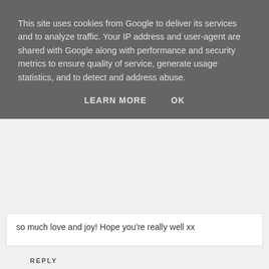This site uses cookies from Google to deliver its services and to analyze traffic. Your IP address and user-agent are shared with Google along with performance and security metrics to ensure quality of service, generate usage statistics, and to detect and address abuse.
LEARN MORE   OK
so much love and joy! Hope you're really well xx
REPLY
Edye Nicole
19 APRIL 2017 AT 00:33
Such a touching post, Amy! Your sister is so lucky to have you in her life. I have an older half-brother, and while we don't talk much, I'm so grateful for him and wish him nothing but the